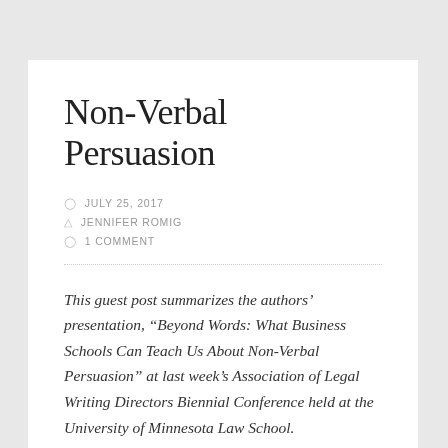Non-Verbal Persuasion
JULY 25, 2017
JENNIFER ROMIG
1 COMMENT
This guest post summarizes the authors' presentation, “Beyond Words: What Business Schools Can Teach Us About Non-Verbal Persuasion” at last week’s Association of Legal Writing Directors Biennial Conference held at the University of Minnesota Law School.